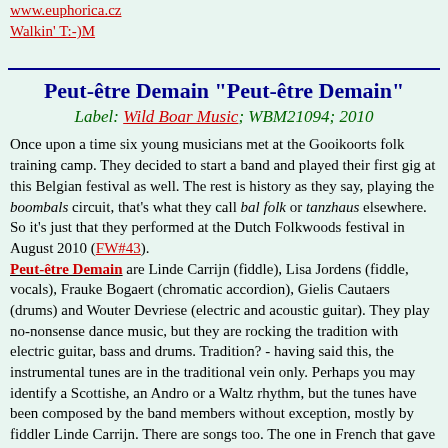www.euphorica.cz
Walkin' T:-)M
Peut-être Demain "Peut-être Demain"
Label: Wild Boar Music; WBM21094; 2010
Once upon a time six young musicians met at the Gooikoorts folk training camp. They decided to start a band and played their first gig at this Belgian festival as well. The rest is history as they say, playing the boombals circuit, that's what they call bal folk or tanzhaus elsewhere. So it's just that they performed at the Dutch Folkwoods festival in August 2010 (FW#43).
Peut-être Demain are Linde Carrijn (fiddle), Lisa Jordens (fiddle, vocals), Frauke Bogaert (chromatic accordion), Gielis Cautaers (drums) and Wouter Devriese (electric and acoustic guitar). They play no-nonsense dance music, but they are rocking the tradition with electric guitar, bass and drums. Tradition? - having said this, the instrumental tunes are in the traditional vein only. Perhaps you may identify a Scottishe, an Andro or a Waltz rhythm, but the tunes have been composed by the band members without exception, mostly by fiddler Linde Carrijn. There are songs too. The one in French that gave the band its name, "Peut-être Demain", as well as the Flemish "Het Blijft" and "Marie" are nice, flowing folk-pop songs. It reminds me sometimes of the finest moments of veteran Belgian folk rock band Kadril (FW#21) - perhaps no wonder, the